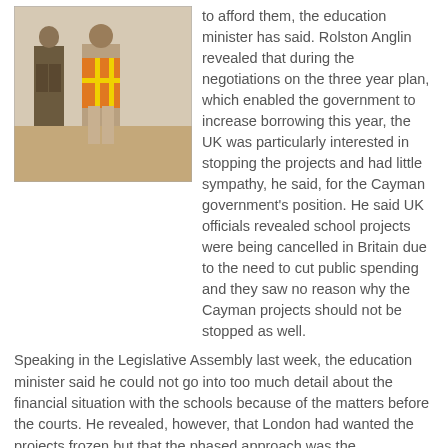[Figure (photo): Two men standing outdoors at what appears to be a construction site, one wearing an orange safety vest with yellow reflective stripes.]
to afford them, the education minister has said. Rolston Anglin revealed that during the negotiations on the three year plan, which enabled the government to increase borrowing this year, the UK was particularly interested in stopping the projects and had little sympathy, he said, for the Cayman government's position. He said UK officials revealed school projects were being cancelled in Britain due to the need to cut public spending and they saw no reason why the Cayman projects should not be stopped as well.
Speaking in the Legislative Assembly last week, the education minister said he could not go into too much detail about the financial situation with the schools because of the matters before the courts. He revealed, however, that London had wanted the projects frozen but that the phased approach was the compromise and it was not about affordability.
He added that government was committed to finishing them in a cost effective timely manner. Work has already restarted at the Clifton Hunter site, which is now expected to be completed by the end of this year, the minister said. In the meantime, things at the John Gray Campus had been organised in such a way that the country's school children would not be disadvantaged, Anglin told the LA.
In a statement to his parliamentary colleagues, he did, however, talk at length about what he believed to be wrong with the design of the schools